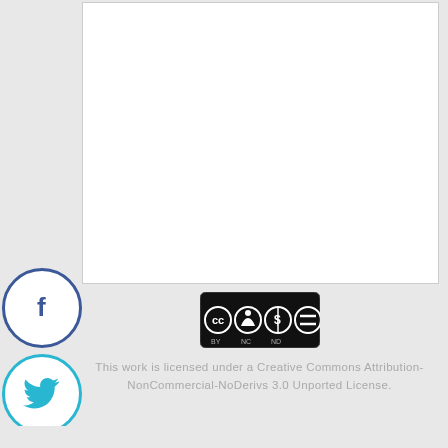[Figure (illustration): Column of social media share icons in circles: Facebook (dark blue border, white bg, blue f), Twitter (cyan border, white bg, cyan bird), Google+ (red-orange border, white bg, orange G+), Pinterest (dark red border, white bg, red P), Yummly (orange border, white bg, orange y), StumbleUpon (orange border, white bg, orange s), Reddit (dark border, white bg, dark alien mascot)]
[Figure (logo): Creative Commons BY-NC-ND license badge — black rounded rectangle containing CC circle logo, person icon, dollar-circle, equals-circle, with BY NC ND labels below]
This work is licensed under a Creative Commons Attribution-NonCommercial-NoDerivs 3.0 Unported License.